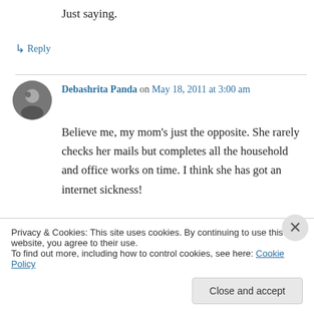Just saying.
↳ Reply
Debashrita Panda on May 18, 2011 at 3:00 am
Believe me, my mom's just the opposite. She rarely checks her mails but completes all the household and office works on time. I think she has got an internet sickness!
↳ Reply
Privacy & Cookies: This site uses cookies. By continuing to use this website, you agree to their use.
To find out more, including how to control cookies, see here: Cookie Policy
Close and accept